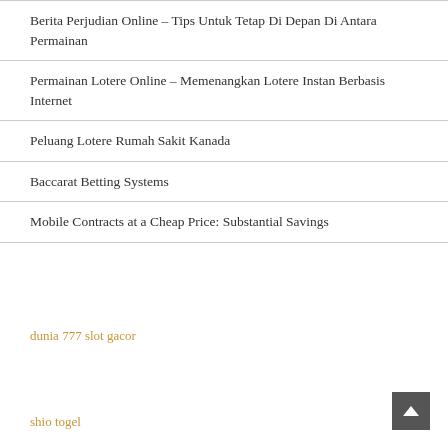Berita Perjudian Online – Tips Untuk Tetap Di Depan Di Antara Permainan
Permainan Lotere Online – Memenangkan Lotere Instan Berbasis Internet
Peluang Lotere Rumah Sakit Kanada
Baccarat Betting Systems
Mobile Contracts at a Cheap Price: Substantial Savings
dunia 777 slot gacor
shio togel